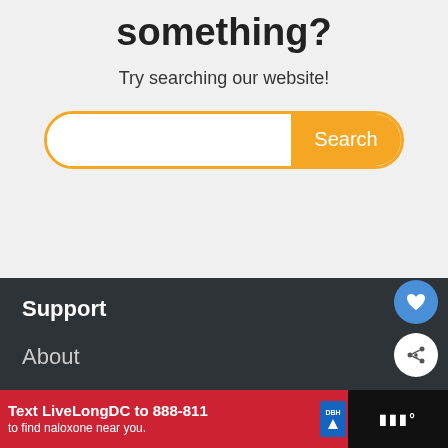something?
Try searching our website!
[Figure (screenshot): Search bar with orange border and orange Search button]
Support
About
[Figure (screenshot): Floating blue heart button and white share button on right side]
WHAT'S NEXT → How To Get Rid Of Bees...
[Figure (screenshot): Ad banner: Text LiveLongDC to 888-811 to find naloxone near you.]